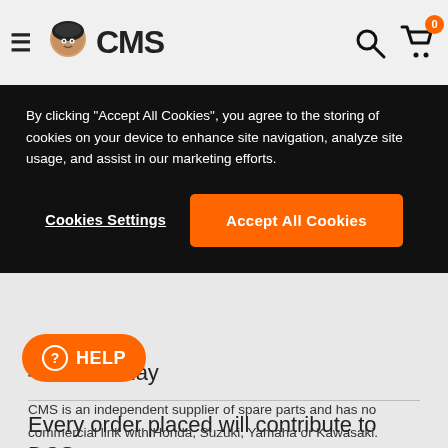CMS — hamburger menu, search, cart with 0 items
[Figure (screenshot): Cookie consent banner with black background, text about storing cookies, 'Cookies Settings' and 'Accept All Cookies' buttons]
44 new today
Every order placed will contribute to DCS
[Figure (other): Orange HELP button with question mark icon]
CMS is an independent supplier of spare parts and has no commercial link with Honda, Suzuki, Yamaha or Kawasaki.